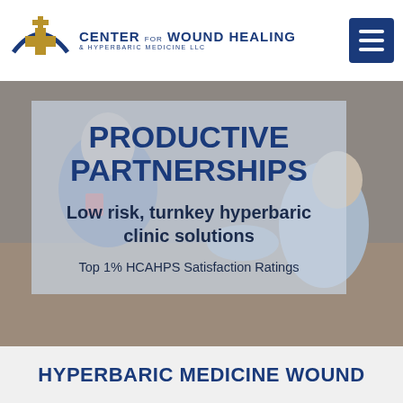[Figure (logo): Center for Wound Healing and Hyperbaric Medicine LLC logo with cross and arch symbol]
[Figure (photo): Background photo of two people in a medical clinic setting, a man in a blue shirt and a healthcare worker in scrubs]
PRODUCTIVE PARTNERSHIPS
Low risk, turnkey hyperbaric clinic solutions
Top 1% HCAHPS Satisfaction Ratings
HYPERBARIC MEDICINE WOUND